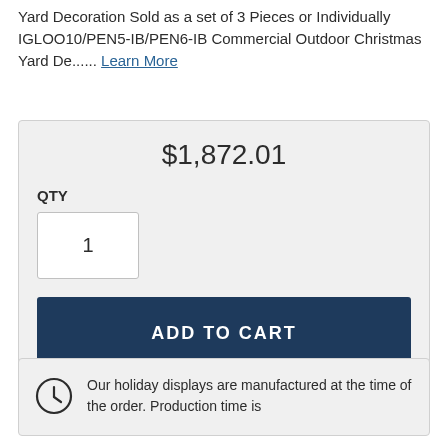Yard Decoration Sold as a set of 3 Pieces or Individually IGLOO10/PEN5-IB/PEN6-IB Commercial Outdoor Christmas Yard De...... Learn More
$1,872.01
QTY
1
ADD TO CART
Our holiday displays are manufactured at the time of the order. Production time is